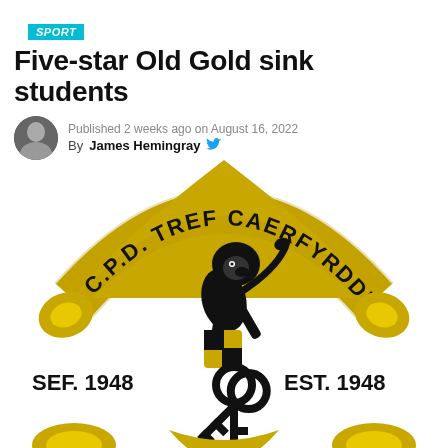SPORT
Five-star Old Gold sink students
Published 2 weeks ago on August 16, 2022
By James Hemingray
[Figure (logo): CPD Tref Caerfyrddin football club crest featuring a black rampant lion holding a shield with gold and black quarters, crossed keys beneath, the text 'C.P.D. TREF CAERFYRDDIN' on a gold arch banner, 'SEF. 1948' on the left and 'EST. 1948' on the right, with gold decorative elements at the bottom.]